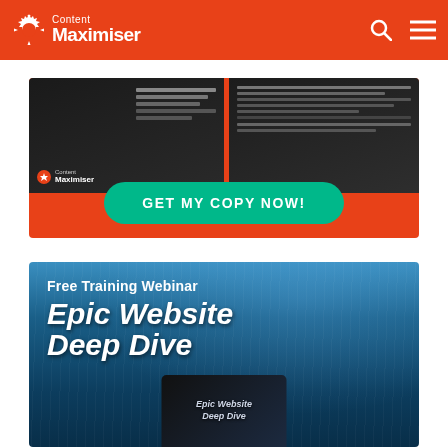Content Maximiser
[Figure (screenshot): Content Maximiser promotional banner with orange/red background, dark book mockup on left with document pages, teal 'GET MY COPY NOW!' call-to-action button]
[Figure (screenshot): Free Training Webinar promotional banner with dark blue underwater background, text 'Free Training Webinar Epic Website Deep Dive', and a smaller book thumbnail at bottom]